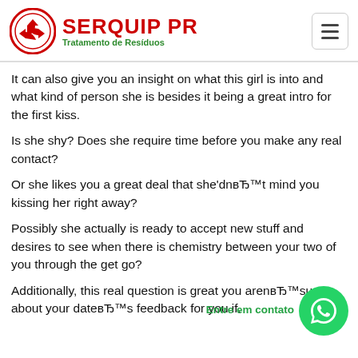[Figure (logo): Serquip PR logo with circular icon and red/green text reading SERQUIP PR Tratamento de Resíduos, plus hamburger menu button]
It can also give you an insight on what this girl is into and what kind of person she is besides it being a great intro for the first kiss.
Is she shy? Does she require time before you make any real contact?
Or she likes you a great deal that she'dnвЂ™t mind you kissing her right away?
Possibly she actually is ready to accept new stuff and desires to see when there is chemistry between your two of you through the get go?
Additionally, this real question is great you arenвЂ™sure about your dateвЂ™s feedback for you if.
[Figure (logo): WhatsApp contact button (green circle with phone icon) with label 'Entre em contato']